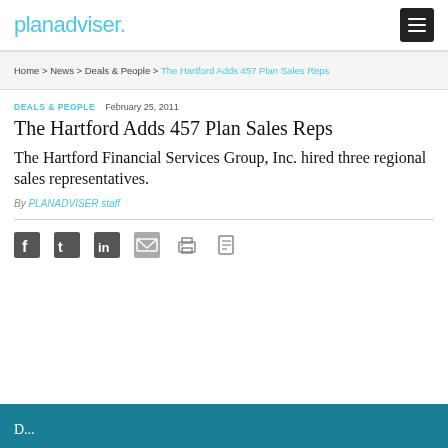planadviser.
Home > News > Deals & People > The Hartford Adds 457 Plan Sales Reps
DEALS & PEOPLE  February 25, 2011
The Hartford Adds 457 Plan Sales Reps
The Hartford Financial Services Group, Inc. hired three regional sales representatives.
By PLANADVISER staff